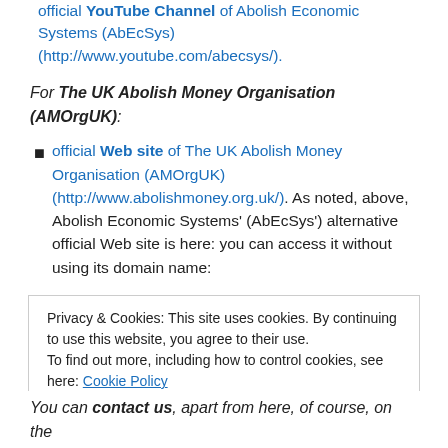official YouTube Channel of Abolish Economic Systems (AbEcSys) (http://www.youtube.com/abecsys/).
For The UK Abolish Money Organisation (AMOrgUK):
official Web site of The UK Abolish Money Organisation (AMOrgUK) (http://www.abolishmoney.org.uk/). As noted, above, Abolish Economic Systems' (AbEcSys') alternative official Web site is here: you can access it without using its domain name:
Privacy & Cookies: This site uses cookies. By continuing to use this website, you agree to their use.
To find out more, including how to control cookies, see here: Cookie Policy
Close and accept
You can contact us, apart from here, of course, on the